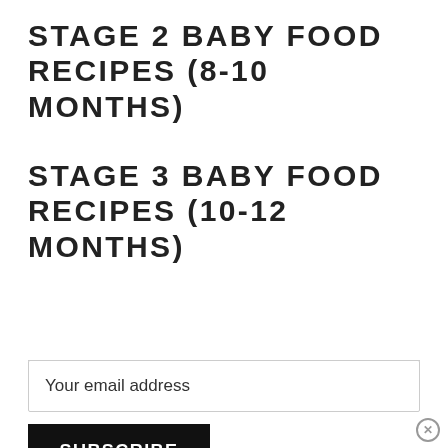STAGE 2 BABY FOOD RECIPES (8-10 MONTHS)
STAGE 3 BABY FOOD RECIPES (10-12 MONTHS)
Your email address
SUBSCRIBE